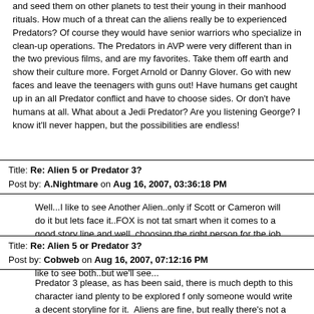and seed them on other planets to test their young in their manhood rituals. How much of a threat can the aliens really be to experienced Predators? Of course they would have senior warriors who specialize in clean-up operations. The Predators in AVP were very different than in the two previous films, and are my favorites. Take them off earth and show their culture more. Forget Arnold or Danny Glover. Go with new faces and leave the teenagers with guns out! Have humans get caught up in an all Predator conflict and have to choose sides. Or don't have humans at all. What about a Jedi Predator? Are you listening George? I know it'll never happen, but the possibilities are endless!
Title: Re: Alien 5 or Predator 3?
Post by: A.Nightmare on Aug 16, 2007, 03:36:18 PM
Well...I like to see Another Alien..only if Scott or Cameron will do it but lets face it..FOX is not tat smart when it comes to a good story line and well, choosing the right person for the job. Their motto, if it is'nt broke, break it...which is what happened with Alien 3 and that crappy french bondage one, resurrection. I like to see both..but we'll see...
Title: Re: Alien 5 or Predator 3?
Post by: Cobweb on Aug 16, 2007, 07:12:16 PM
Predator 3 please, as has been said, there is much depth to this character iand plenty to be explored f only someone would write a decent storyline for it.  Aliens are fine, but really there's not a lot to the after Alien. Perhaps if the f ever conditions d for the, might thid